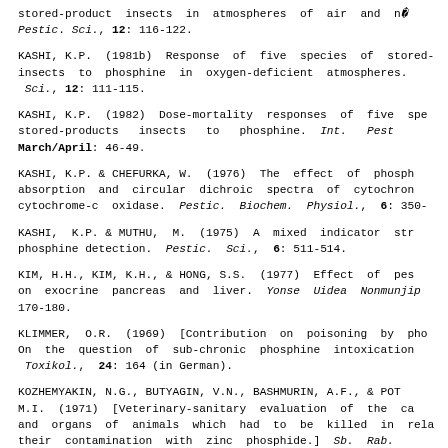stored-product insects in atmospheres of air and n... Pestic. Sci., 12: 116-122.
KASHI, K.P. (1981b) Response of five species of stored-product insects to phosphine in oxygen-deficient atmospheres. Pestic. Sci., 12: 111-115.
KASHI, K.P. (1982) Dose-mortality responses of five species of stored-products insects to phosphine. Int. Pest... March/April: 46-49.
KASHI, K.P. & CHEFURKA, W. (1976) The effect of phosphine on absorption and circular dichroic spectra of cytochrome and cytochrome-c oxidase. Pestic. Biochem. Physiol., 6: 350-...
KASHI, K.P. & MUTHU, M. (1975) A mixed indicator strip for phosphine detection. Pestic. Sci., 6: 511-514.
KIM, H.H., KIM, K.H., & HONG, S.S. (1977) Effect of pesticide on exocrine pancreas and liver. Yonse Uidea Nonmunjip... 170-180.
KLIMMER, O.R. (1969) [Contribution on poisoning by phosphine. On the question of sub-chronic phosphine intoxication.] Toxikol., 24: 164 (in German).
KOZHEMYAKIN, N.G., BUTYAGIN, V.N., BASHMURIN, A.F., & POT... M.I. (1971) [Veterinary-sanitary evaluation of the carcasses and organs of animals which had to be killed in relation to their contamination with zinc phosphide.] Sb. Rab....